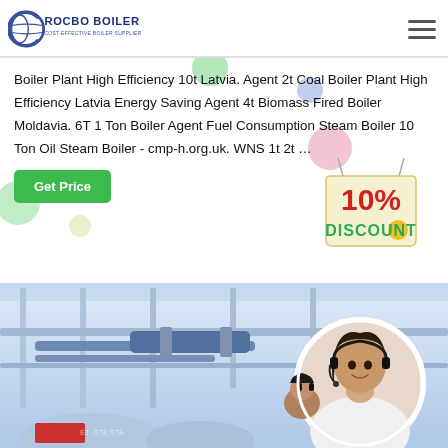ROCBO BOILER - COST-EFFECTIVE BOILER SUPPLIER
Boiler Plant High Efficiency 10t Latvia. Agent 2t Coal Boiler Plant High Efficiency Latvia Energy Saving Agent 4t Biomass Fired Boiler Moldavia. 6T 1 Ton Boiler Agent Fuel Consumption Steam Boiler 10 Ton Oil Steam Boiler - cmp-h.org.uk. WNS 1t 2t …
[Figure (infographic): Green 'Get Price' button and 10% DISCOUNT badge with decorative colored balloons on white background]
[Figure (photo): Industrial boiler plant interior with pipes and equipment; circular inset photo of smiling female customer service agent wearing headset]